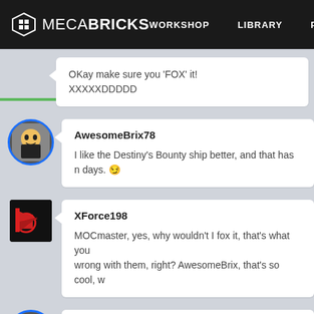MECABRICKS — WORKSHOP | LIBRARY | PARTS
OKay make sure you 'FOX' it! XXXXXDDDDD
AwesomeBrix78
I like the Destiny's Bounty ship better, and that has no days. 😏
XForce198
MOCmaster, yes, why wouldn't I fox it, that's what you wrong with them, right? AwesomeBrix, that's so cool, w
AwesomeBrix78